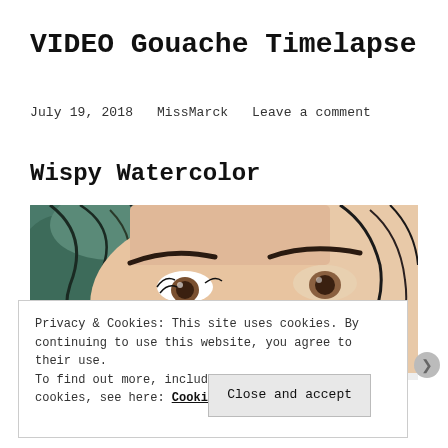VIDEO Gouache Timelapse
July 19, 2018   MissMarck   Leave a comment
Wispy Watercolor
[Figure (illustration): Watercolor/gouache painting showing close-up of a face with stylized eyes, dark flowing hair with teal/green highlights, and soft peachy skin tones.]
Privacy & Cookies: This site uses cookies. By continuing to use this website, you agree to their use.
To find out more, including how to control cookies, see here: Cookie Policy
Close and accept